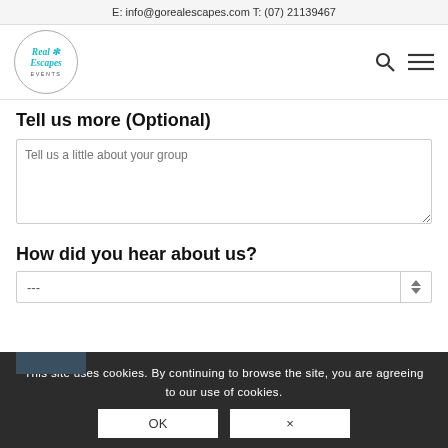E: info@gorealescapes.com T: (07) 21139467
[Figure (logo): Real Escapes Events circular logo with palm tree icon]
Tell us more (Optional)
Tell us a little about your group
How did you hear about us?
---
This site uses cookies. By continuing to browse the site, you are agreeing to our use of cookies.